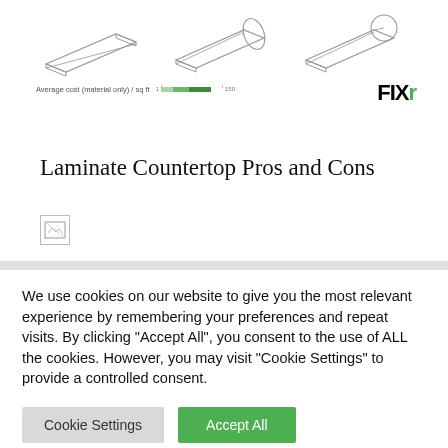[Figure (illustration): Three laminate countertop roll/slab illustrations shown side by side, with a cost bar scale below labeled 'Average cost (material only) / sq ft']
Laminate Countertop Pros and Cons
[Figure (photo): Broken/unloaded image placeholder]
We use cookies on our website to give you the most relevant experience by remembering your preferences and repeat visits. By clicking "Accept All", you consent to the use of ALL the cookies. However, you may visit "Cookie Settings" to provide a controlled consent.